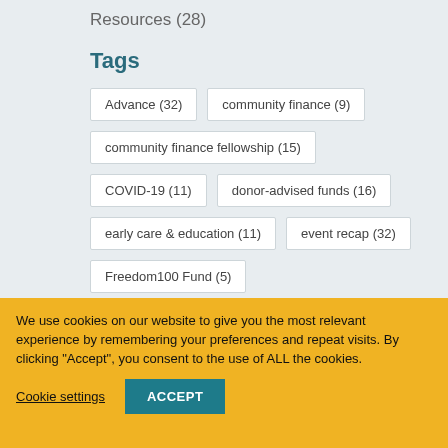Resources (28)
Tags
Advance (32)
community finance (9)
community finance fellowship (15)
COVID-19 (11)
donor-advised funds (16)
early care & education (11)
event recap (32)
Freedom100 Fund (5)
We use cookies on our website to give you the most relevant experience by remembering your preferences and repeat visits. By clicking “Accept”, you consent to the use of ALL the cookies.
Cookie settings
ACCEPT